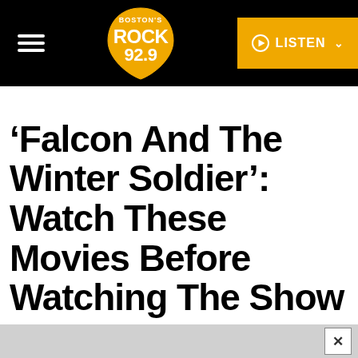Boston's Rock 92.9 — Navigation header with hamburger menu, logo, and LISTEN button
'Falcon And The Winter Soldier': Watch These Movies Before Watching The Show